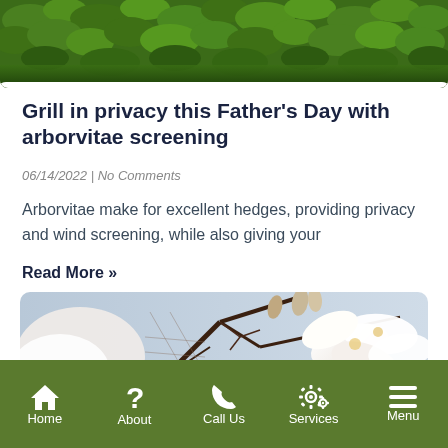[Figure (photo): Close-up of green arborvitae/conifer foliage at the top of the page]
Grill in privacy this Father's Day with arborvitae screening
06/14/2022 | No Comments
Arborvitae make for excellent hedges, providing privacy and wind screening, while also giving your
Read More »
[Figure (photo): Close-up of white magnolia flowers on branches]
Home | About | Call Us | Services | Menu